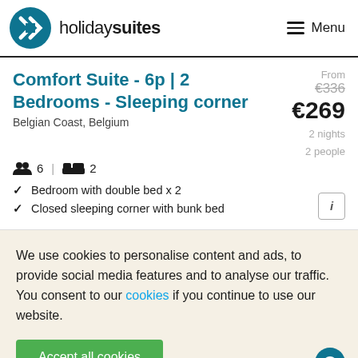holiday suites — Menu
Comfort Suite - 6p | 2 Bedrooms - Sleeping corner
Belgian Coast, Belgium
From €336 €269 2 nights 2 people
6 | 2
Bedroom with double bed x 2
Closed sleeping corner with bunk bed
We use cookies to personalise content and ads, to provide social media features and to analyse our traffic. You consent to our cookies if you continue to use our website.
Accept all cookies